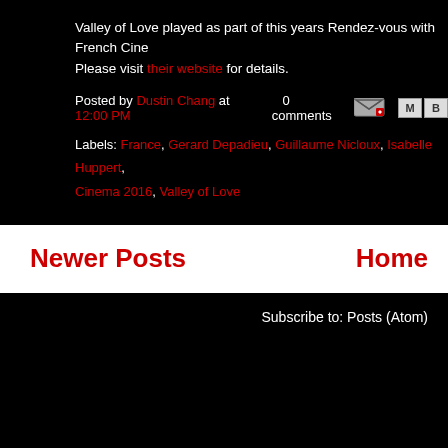Valley of Love played as part of this years Rendez-vous with French Cine... Please visit their website for details.
Posted by Dustin Chang at 12:00 PM   0 comments
Labels: France, Gerard Depadieu, Guillaume Nicloux, Isabelle Huppert, ... Cinema 2016, Valley of Love
Newer Posts
Home
Subscribe to: Posts (Atom)